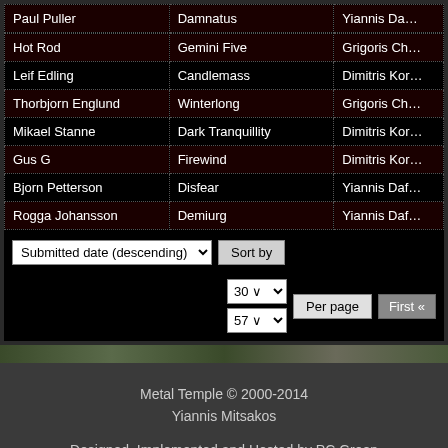| Artist | Band | Reviewer |
| --- | --- | --- |
| Hot Rod | Gemini Five | Grigoris Ch… |
| Leif Edling | Candlemass | Dimitris Kor… |
| Thorbjorn Englund | Winterlong | Grigoris Ch… |
| Mikael Stanne | Dark Tranquillity | Dimitris Kor… |
| Gus G | Firewind | Dimitris Kor… |
| Bjorn Petterson | Disfear | Yiannis Daf… |
| Rogga Johansson | Demiurg | Yiannis Daf… |
Submitted date (descending) | Sort by | 30 | 57 | Per page | First «
Metal Temple © 2000-2014
Yiannis Mitsakos

Designed, Implemented and Hosted by PC Green